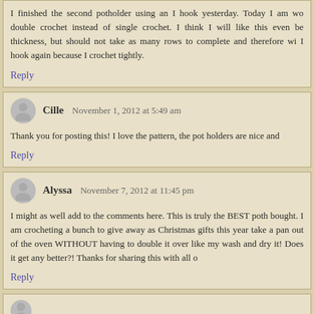I finished the second potholder using an I hook yesterday. Today I am wo double crochet instead of single crochet. I think I will like this even be thickness, but should not take as many rows to complete and therefore wi I hook again because I crochet tightly.
Reply
Cille   November 1, 2012 at 5:49 am
Thank you for posting this! I love the pattern, the pot holders are nice and
Reply
Alyssa   November 7, 2012 at 11:45 pm
I might as well add to the comments here. This is truly the BEST poth bought. I am crocheting a bunch to give away as Christmas gifts this year take a pan out of the oven WITHOUT having to double it over like my wash and dry it! Does it get any better?! Thanks for sharing this with all o
Reply